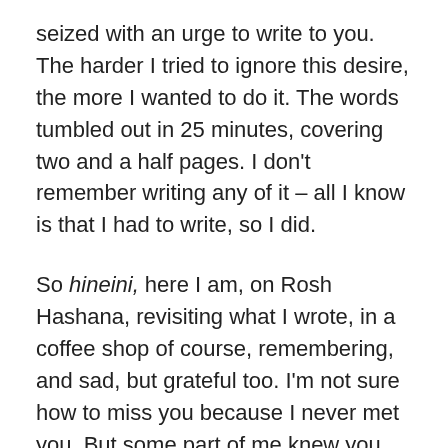seized with an urge to write to you. The harder I tried to ignore this desire, the more I wanted to do it. The words tumbled out in 25 minutes, covering two and a half pages. I don't remember writing any of it – all I know is that I had to write, so I did.
So hineini, here I am, on Rosh Hashana, revisiting what I wrote, in a coffee shop of course, remembering, and sad, but grateful too. I'm not sure how to miss you because I never met you. But some part of me knew you, and all of me learned from you, because your heartbeat lived with mine. You were only with me for twelve weeks, and yet you alone